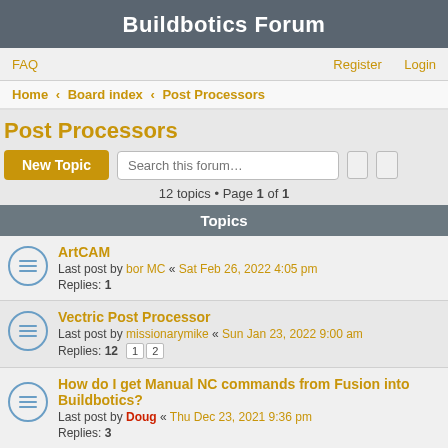Buildbotics Forum
FAQ | Register | Login
Home › Board index › Post Processors
Post Processors
12 topics • Page 1 of 1
Topics
ArtCAM — Last post by bor MC « Sat Feb 26, 2022 4:05 pm — Replies: 1
Vectric Post Processor — Last post by missionarymike « Sun Jan 23, 2022 9:00 am — Replies: 12 [1][2]
How do I get Manual NC commands from Fusion into Buildbotics? — Last post by Doug « Thu Dec 23, 2021 9:36 pm — Replies: 3
Mozaik Cabinet Software — Last post by johannes « Sun Jun 27, 2021 3:25 am